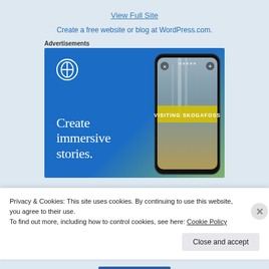View Full Site
Create a free website or blog at WordPress.com.
Advertisements
[Figure (screenshot): WordPress advertisement banner showing blue gradient background with WordPress logo, phone mockup showing 'VISITING SKOGAFOSS' story, and text 'Create immersive stories.']
Privacy & Cookies: This site uses cookies. By continuing to use this website, you agree to their use.
To find out more, including how to control cookies, see here: Cookie Policy
Close and accept